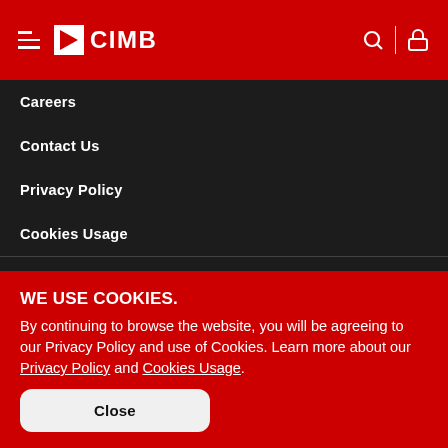CIMB
Careers
Contact Us
Privacy Policy
Cookies Usage
GLOBAL SITES
WE USE COOKIES. By continuing to browse the website, you will be agreeing to our Privacy Policy and use of Cookies. Learn more about our Privacy Policy and Cookies Usage.
Close